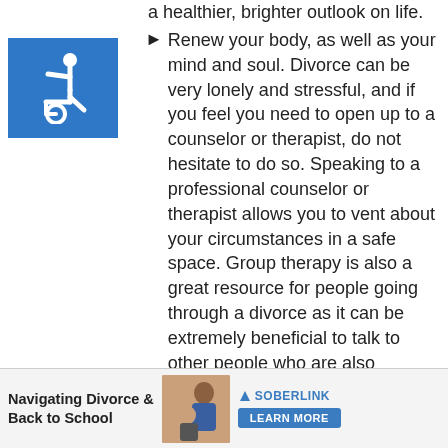a healthier, brighter outlook on life.
[Figure (illustration): Blue square accessibility icon showing wheelchair user symbol in white]
Renew your body, as well as your mind and soul. Divorce can be very lonely and stressful, and if you feel you need to open up to a counselor or therapist, do not hesitate to do so. Speaking to a professional counselor or therapist allows you to vent about your circumstances in a safe space. Group therapy is also a great resource for people going through a divorce as it can be extremely beneficial to talk to other people who are also experiencing what you are going through.
Build a New Community of Support
[Figure (advertisement): Ad banner: Navigating Divorce & Back to School with Soberlink logo and Learn More button, photo of mother and child]